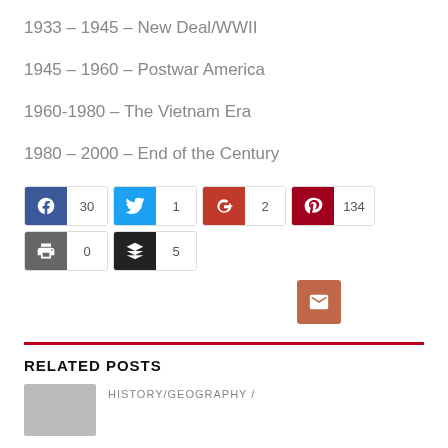1933 – 1945 – New Deal/WWII
1945 – 1960 – Postwar America
1960-1980 – The Vietnam Era
1980 – 2000 – End of the Century
[Figure (infographic): Social share buttons: Facebook (30), Twitter (1), Google+ (2), Pinterest (134), Print (0), Layers (5), Email]
RELATED POSTS
HISTORY/GEOGRAPHY /